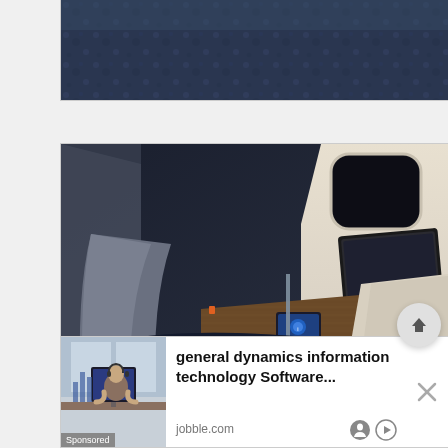[Figure (photo): Partial view of dark blue airplane blanket/seat fabric, cropped at top]
[Figure (photo): Airplane business class lie-flat seat pod in reclined/flat position with white/cream colored walls, wooden tray table, small screen, dark navy blue blanket, window visible in background]
[Figure (photo): Advertisement banner: general dynamics information technology Software... jobble.com, with image of person at computer, sponsored label, close button and ad choice icons]